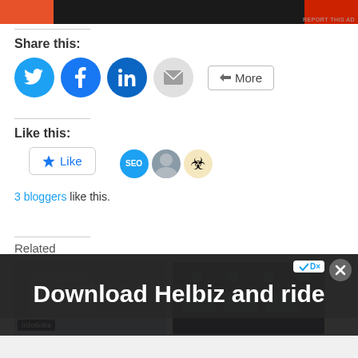[Figure (photo): Advertisement banner at top of page with orange and dark sections]
Share this:
[Figure (infographic): Social share buttons: Twitter (blue circle), Facebook (blue circle), LinkedIn (blue circle), Email (grey circle), and More button]
Like this:
[Figure (infographic): Like button with star icon and 3 blogger avatars: SEO text avatar, photo avatar, biohazard symbol avatar]
3 bloggers like this.
Related
[Figure (photo): Two related article thumbnail images side by side. Left shows a phone/device with infolinks badge. Right shows green bars on dark background.]
[Figure (photo): Advertisement overlay: Download Helbiz and ride - dark background with scooter, close button and ad logo]